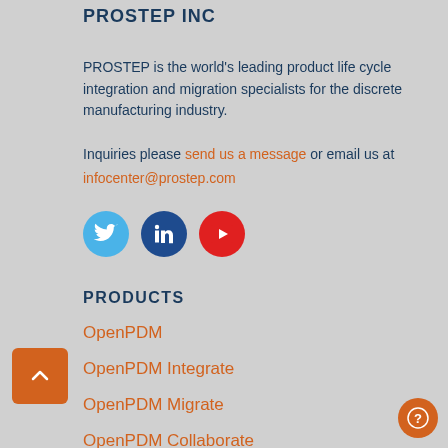PROSTEP INC
PROSTEP is the world's leading product life cycle integration and migration specialists for the discrete manufacturing industry.
Inquiries please send us a message or email us at infocenter@prostep.com
[Figure (other): Social media icons: Twitter (blue circle), LinkedIn (dark blue circle), YouTube (red circle)]
PRODUCTS
OpenPDM
OpenPDM Integrate
OpenPDM Migrate
OpenPDM Collaborate
OpenPDM GlobalX